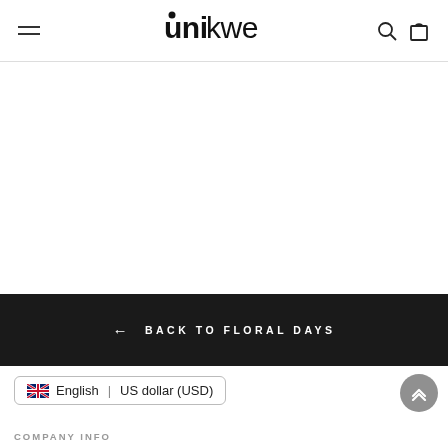unikwe — navigation header with hamburger menu, logo, search and cart icons
← BACK TO FLORAL DAYS
🇬🇧 English | US dollar (USD)
COMPANY INFO